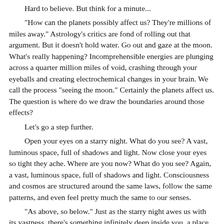Hard to believe. But think for a minute...
"How can the planets possibly affect us? They're millions of miles away." Astrology's critics are fond of rolling out that argument. But it doesn't hold water. Go out and gaze at the moon. What's really happening? Incomprehensible energies are plunging across a quarter million miles of void, crashing through your eyeballs and creating electrochemical changes in your brain. We call the process "seeing the moon." Certainly the planets affect us. The question is where do we draw the boundaries around those effects?
Let's go a step further.
Open your eyes on a starry night. What do you see? A vast, luminous space, full of shadows and light. Now close your eyes so tight they ache. Where are you now? What do you see? Again, a vast, luminous space, full of shadows and light. Consciousness and cosmos are structured around the same laws, follow the same patterns, and even feel pretty much the same to our senses.
"As above, so below." Just as the starry night awes us with its vastness, there's something infinitely deep inside you, a place you go when you close your eyes, a place that's beyond being an Aries or a Gemini or even a specific gender. At the most profound level,